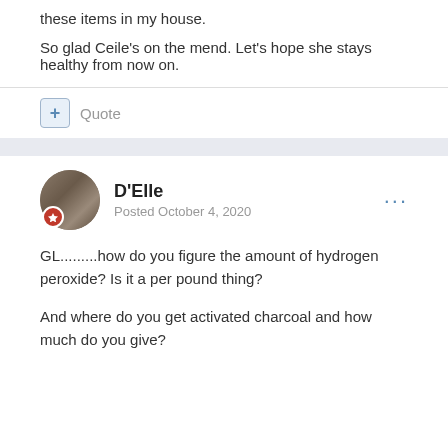these items in my house.
So glad Ceile's on the mend. Let's hope she stays healthy from now on.
D'Elle
Posted October 4, 2020
GL.........how do you figure the amount of hydrogen peroxide? Is it a per pound thing?
And where do you get activated charcoal and how much do you give?